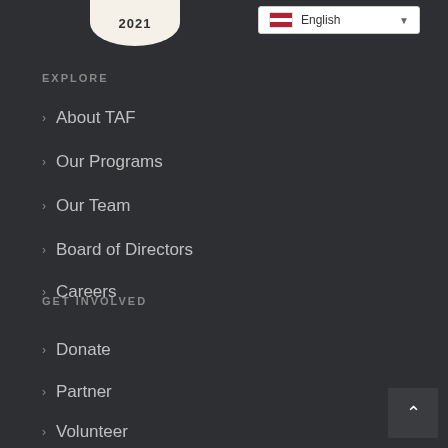[Figure (logo): Badge/seal shape with '2021' text on cream/off-white background]
[Figure (screenshot): Language selector dropdown showing US flag and 'English' text with dropdown arrow]
EXPLORE
About TAF
Our Programs
Our Team
Board of Directors
Careers
GET INVOLVED
Donate
Partner
Volunteer